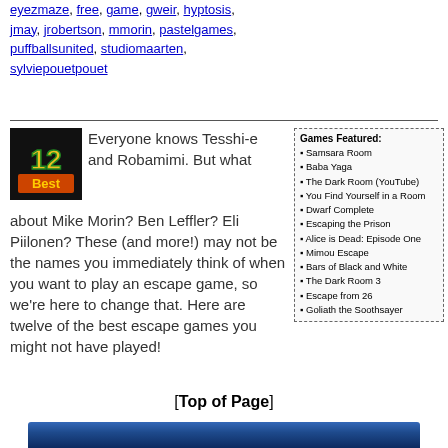eyezmaze, free, game, gweir, hyptosis, jmay, jrobertson, mmorin, pastelgames, puffballsunited, studiomaarten, sylviepouetpouet
[Figure (logo): 12 Best game logo with yellow/green number 12 and orange Best text on black background]
Everyone knows Tesshi-e and Robamimi. But what about Mike Morin? Ben Leffler? Eli Piilonen? These (and more!) may not be the names you immediately think of when you want to play an escape game, so we're here to change that. Here are twelve of the best escape games you might not have played!
Games Featured:
Samsara Room
Baba Yaga
The Dark Room (YouTube)
You Find Yourself in a Room
Dwarf Complete
Escaping the Prison
Alice is Dead: Episode One
Mimou Escape
Bars of Black and White
The Dark Room 3
Escape from 26
Goliath the Soothsayer
[Top of Page]
[Figure (photo): Blue gradient banner/image at bottom of page]